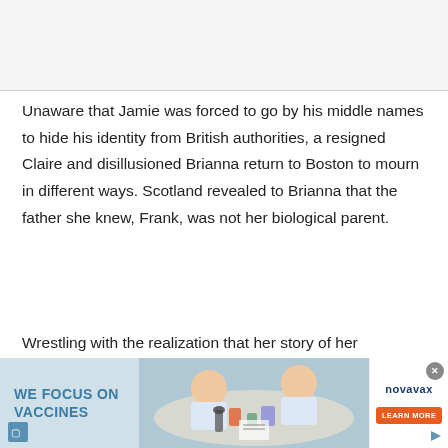Unaware that Jamie was forced to go by his middle names to hide his identity from British authorities, a resigned Claire and disillusioned Brianna return to Boston to mourn in different ways. Scotland revealed to Brianna that the father she knew, Frank, was not her biological parent.
Wrestling with the realization that her story of her
[Figure (photo): Advertisement showing scientists working at a lab table, with text 'WE FOCUS ON VACCINES' and Novavax logo with 'LEARN MORE' button.]